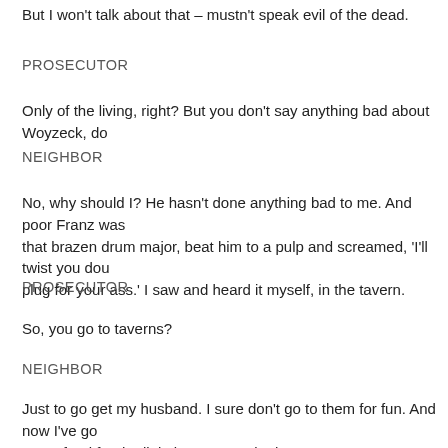But I won't talk about that – mustn't speak evil of the dead.
PROSECUTOR
Only of the living, right? But you don't say anything bad about Woyzeck, do
NEIGHBOR
No, why should I? He hasn't done anything bad to me. And poor Franz was that brazen drum major, beat him to a pulp and screamed, 'I'll twist you dou plug for your ass.' I saw and heard it myself, in the tavern.
PROSECUTOR
So, you go to taverns?
NEIGHBOR
Just to go get my husband. I sure don't go to them for fun. And now I've go some food for the little brats. Don't bother me anymore.
PROSECUTOR